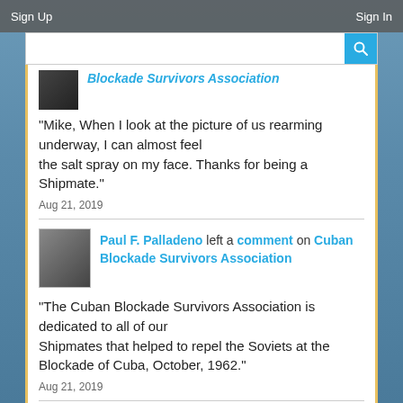Sign Up    Sign In
Blockade Survivors Association
"Mike, When I look at the picture of us rearming underway, I can almost feel the salt spray on my face. Thanks for being a Shipmate."
Aug 21, 2019
Paul F. Palladeno left a comment on Cuban Blockade Survivors Association
"The Cuban Blockade Survivors Association is dedicated to all of our Shipmates that helped to repel the Soviets at the Blockade of Cuba, October, 1962."
Aug 21, 2019